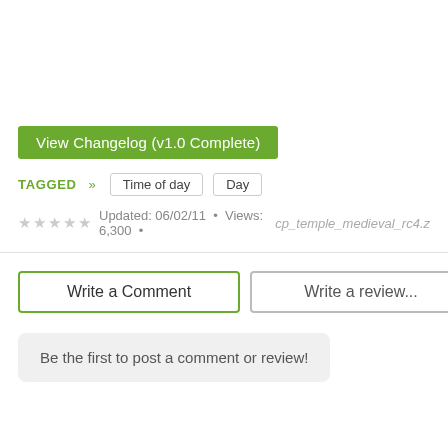View Changelog (v1.0 Complete)
TAGGED » Time of day  Day
Updated: 06/02/11 • Views: 6,300 • cp_temple_medieval_rc4.z
Write a Comment
Write a review...
Be the first to post a comment or review!